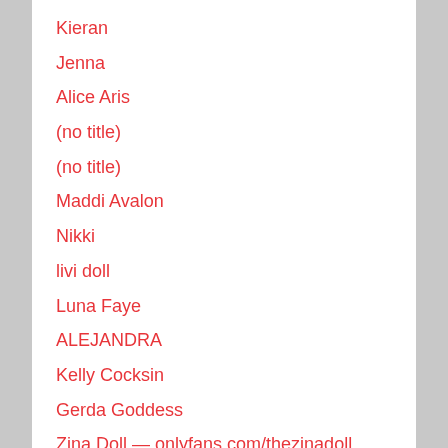Kieran
Jenna
Alice Aris
(no title)
(no title)
Maddi Avalon
Nikki
livi doll
Luna Faye
ALEJANDRA
Kelly Cocksin
Gerda Goddess
Zina Doll — onlyfans.com/thezinadoll